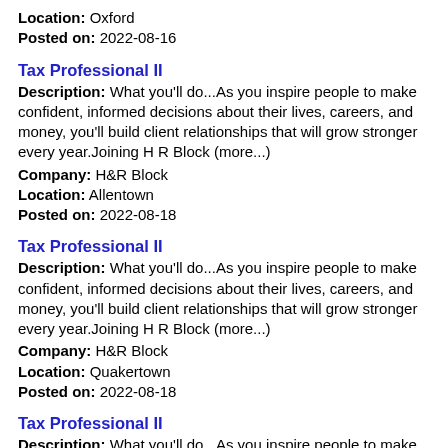Location: Oxford
Posted on: 2022-08-16
Tax Professional II
Description: What you'll do...As you inspire people to make confident, informed decisions about their lives, careers, and money, you'll build client relationships that will grow stronger every year.Joining H R Block (more...)
Company: H&R Block
Location: Allentown
Posted on: 2022-08-18
Tax Professional II
Description: What you'll do...As you inspire people to make confident, informed decisions about their lives, careers, and money, you'll build client relationships that will grow stronger every year.Joining H R Block (more...)
Company: H&R Block
Location: Quakertown
Posted on: 2022-08-18
Tax Professional II
Description: What you'll do...As you inspire people to make confident, informed decisions about their lives, careers, and money, you'll build client relationships that will grow stronger every year.Joining H R Block (more...)
Company: H&R Block
Location: Trenton